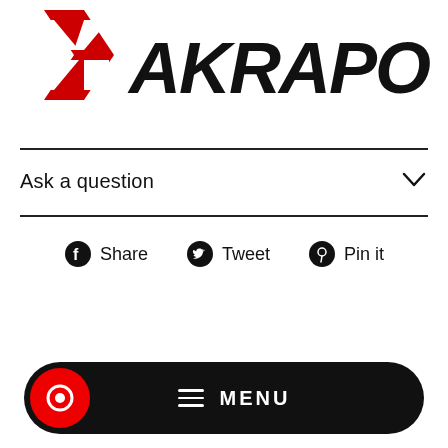[Figure (logo): Akrapovic logo with red arrow icon and bold black italic AKRAPOVIC text]
Ask a question
[Figure (infographic): Social share buttons: Share (Facebook), Tweet (Twitter), Pin it (Pinterest)]
[Figure (infographic): Black pill-shaped menu bar with red chat icon on left and MENU text with hamburger icon in center]